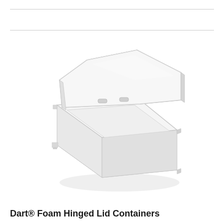[Figure (photo): A white Dart foam hinged lid container (clamshell box) shown with the lid open, viewed from a slight angle. The container is white/light gray foam with a square base and an attached hinged lid propped open at the back.]
Dart® Foam Hinged Lid Containers